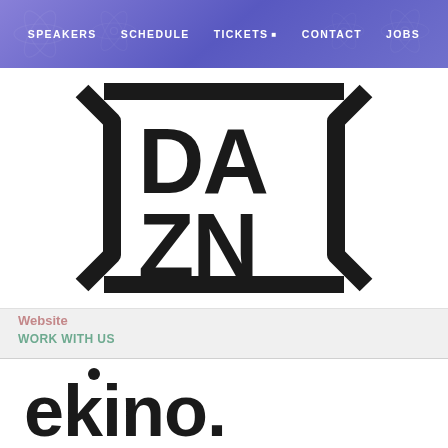SPEAKERS  SCHEDULE  TICKETS ▾  CONTACT  JOBS
[Figure (logo): DAZN logo — large bold black letters DA over ZN inside a square bracket-like border on white background]
Website
WORK WITH US
[Figure (logo): ekino. logo — lowercase black sans-serif text 'ekino.' with a dot at the end, on white background]